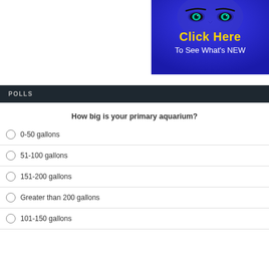[Figure (illustration): Banner ad showing a blue-toned face with teal eyes and text 'Click Here To See What's NEW' in yellow and white on a blue background.]
POLLS
How big is your primary aquarium?
0-50 gallons
51-100 gallons
151-200 gallons
Greater than 200 gallons
101-150 gallons